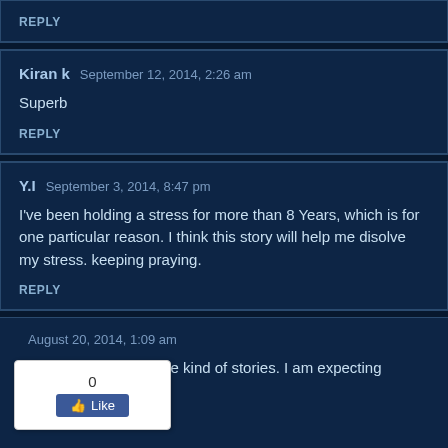REPLY
Kiran k   September 12, 2014, 2:26 am
Superb
REPLY
Y.I   September 3, 2014, 8:47 pm
I've been holding a stress for more than 8 Years, which is for one particular reason. I think this story will help me disolve my stress. keeping praying.
REPLY
August 20, 2014, 1:09 am
ory! I want to read these kind of stories. I am expecting